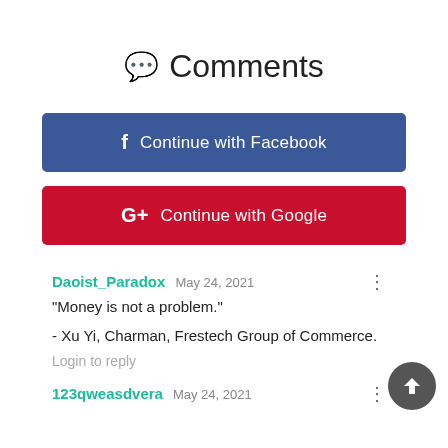💬 Comments
f  Continue with Facebook
G+  Continue with Google
Daoist_Paradox  May 24, 2021
"Money is not a problem."

- Xu Yi, Charman, Frestech Group of Commerce.

Login to reply
123qweasdvera  May 24, 2021